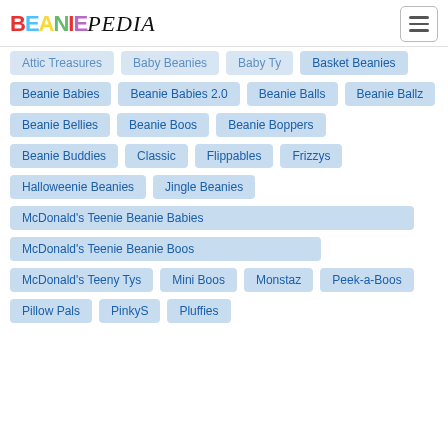BEANIEPEDIA
Attic Treasures
Baby Beanies
Baby Ty
Basket Beanies
Beanie Babies
Beanie Babies 2.0
Beanie Balls
Beanie Ballz
Beanie Bellies
Beanie Boos
Beanie Boppers
Beanie Buddies
Classic
Flippables
Frizzys
Halloweenie Beanies
Jingle Beanies
McDonald's Teenie Beanie Babies
McDonald's Teenie Beanie Boos
McDonald's Teeny Tys
Mini Boos
Monstaz
Peek-a-Boos
Pillow Pals
PinkyS
Pluffies